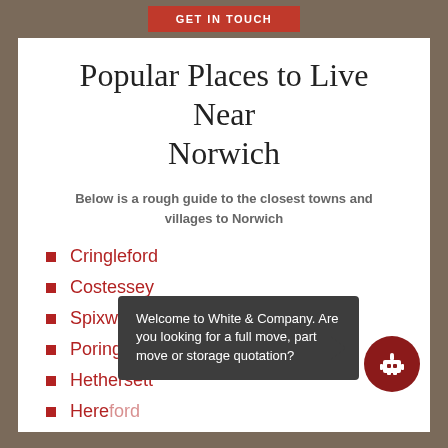[Figure (other): Red 'GET IN TOUCH' button on dark brownish-grey background at top of page]
Popular Places to Live Near Norwich
Below is a rough guide to the closest towns and villages to Norwich
Cringleford
Costessey
Spixworth
Poringland
Hethersett
Hereford (partial, cut off)
[Figure (other): Chatbot popup overlay: dark grey speech bubble saying 'Welcome to White & Company. Are you looking for a full move, part move or storage quotation?' with a red robot icon button]